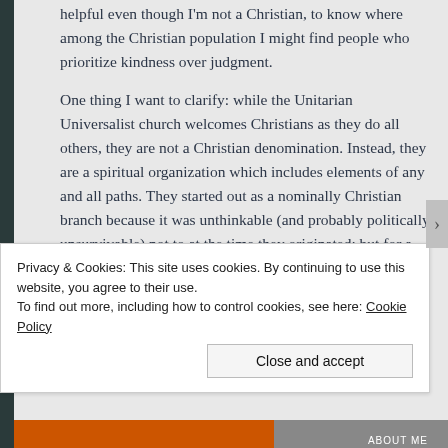helpful even though I'm not a Christian, to know where among the Christian population I might find people who prioritize kindness over judgment.

One thing I want to clarify: while the Unitarian Universalist church welcomes Christians as they do all others, they are not a Christian denomination. Instead, they are a spiritual organization which includes elements of any and all paths. They started out as a nominally Christian branch because it was unthinkable (and probably politically unsurvivable) not to at the time they originated; but for a long time now they have contained as much of any other
Privacy & Cookies: This site uses cookies. By continuing to use this website, you agree to their use.
To find out more, including how to control cookies, see here: Cookie Policy
Close and accept